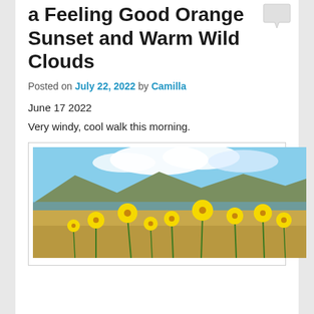a Feeling Good Orange Sunset and Warm Wild Clouds
Posted on July 22, 2022 by Camilla
June 17 2022
Very windy, cool walk this morning.
[Figure (photo): Yellow wildflowers in foreground with mountains, water, and cloudy blue sky in background]